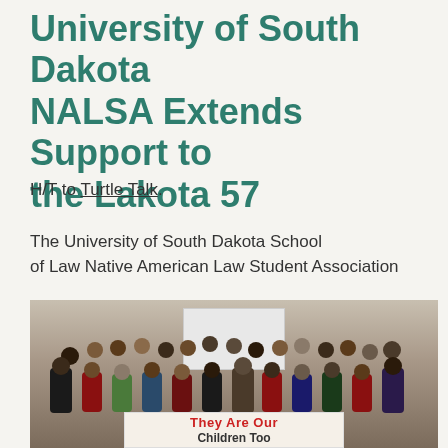University of South Dakota NALSA Extends Support to the Lakota 57
H/T to Turtle Talk.
The University of South Dakota School of Law Native American Law Student Association
[Figure (photo): Group photo of University of South Dakota NALSA members in a meeting room, holding a banner that reads 'They Are Our Children Too']